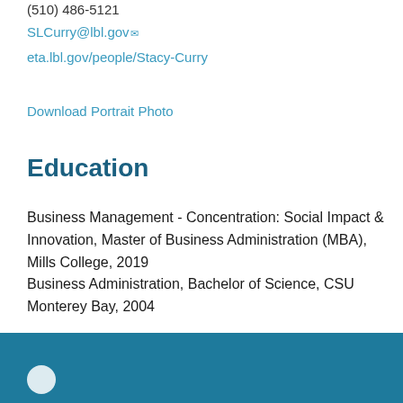(510) 486-5121
SLCurry@lbl.gov
eta.lbl.gov/people/Stacy-Curry
Download Portrait Photo
Education
Business Management - Concentration: Social Impact & Innovation, Master of Business Administration (MBA), Mills College, 2019
Business Administration, Bachelor of Science, CSU Monterey Bay, 2004